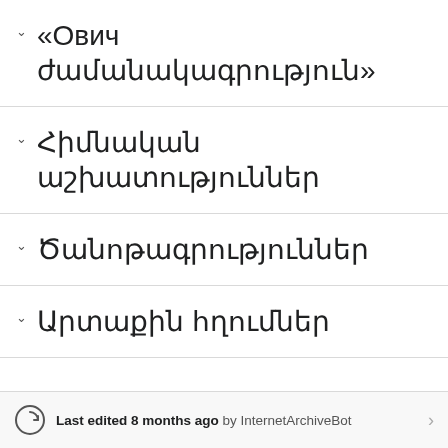«Ович ժամանակագրություն»
Հիմնական աշխատություններ
Ծանոթագրություններ
Արտաքին հղումներ
Last edited 8 months ago by InternetArchiveBot